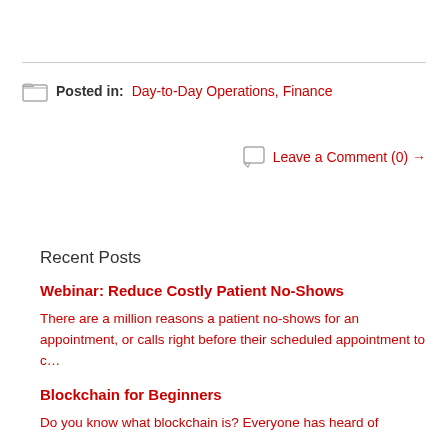Posted in: Day-to-Day Operations, Finance
Leave a Comment (0) →
Recent Posts
Webinar: Reduce Costly Patient No-Shows
There are a million reasons a patient no-shows for an appointment, or calls right before their scheduled appointment to c…
Blockchain for Beginners
Do you know what blockchain is? Everyone has heard of